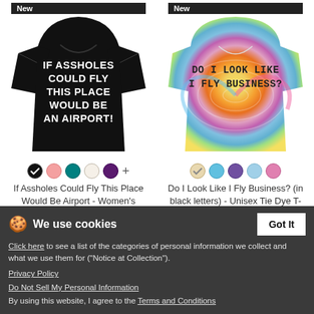[Figure (photo): Black women's t-shirt with white bold text: IF ASSHOLES COULD FLY THIS PLACE WOULD BE AN AIRPORT!]
[Figure (photo): Tie-dye unisex t-shirt with dark text: DO I LOOK LIKE I FLY BUSINESS?]
If Assholes Could Fly This Place Would Be Airport - Women's Premium T-Shirt
$22.99
Do I Look Like I Fly Business? (in black letters) - Unisex Tie Dye T-Shirt
$21.99
We use cookies
Click here to see a list of the categories of personal information we collect and what we use them for ("Notice at Collection").
Privacy Policy
Do Not Sell My Personal Information
By using this website, I agree to the Terms and Conditions